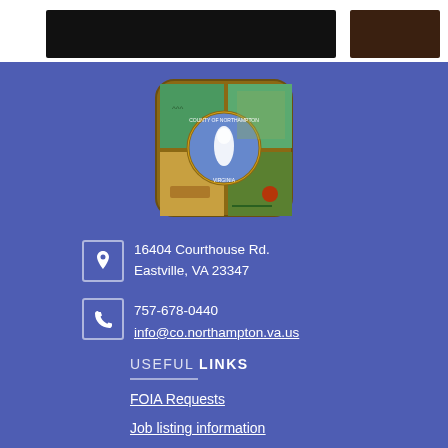[Figure (photo): Top bar with two photo sections — left dark image and right brownish image]
[Figure (logo): Seal/badge of County of Northampton, Virginia — circular emblem with map of the county on blue background, surrounded by decorative county scenes, with brown badge border]
16404 Courthouse Rd.
Eastville, VA 23347
757-678-0440
info@co.northampton.va.us
USEFUL LINKS
FOIA Requests
Job listings information (truncated)